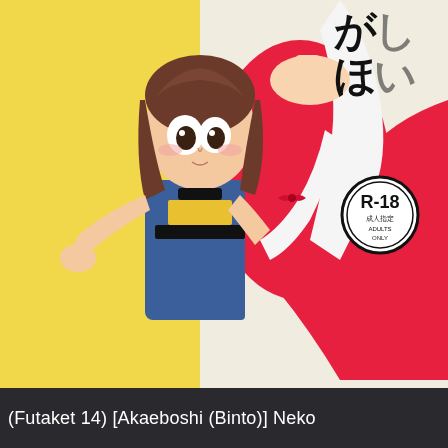[Figure (illustration): Manga/doujinshi cover art showing two anime characters embracing. A shorter character in a blue school uniform with yellow accents (scarf/belt) with brown hair pressing against a taller character in a red sleeveless dress. Japanese text title visible in upper right partially cut off reading something like 'xxxが欲しい'. An R-18 / 成人指定 / ADULTS ONLY badge is visible in the upper right area. Background is yellow/cream on the left side.]
(Futaket 14) [Akaeboshi (Binto)] Neko